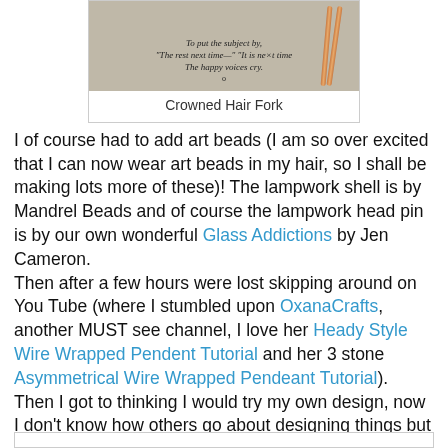[Figure (photo): Photo of a book page with italic poetry text and a hair fork/pin resting on top, partially visible. The book text reads: 'To put the subject by, "The rest next time—" "It is next time—" The happy voices cry.']
Crowned Hair Fork
I of course had to add art beads (I am so over excited that I can now wear art beads in my hair, so I shall be making lots more of these)! The lampwork shell is by Mandrel Beads and of course the lampwork head pin is by our own wonderful Glass Addictions by Jen Cameron.
Then after a few hours were lost skipping around on You Tube (where I stumbled upon OxanaCrafts, another MUST see channel, I love her Heady Style Wire Wrapped Pendent Tutorial and her 3 stone Asymmetrical Wire Wrapped Pendeant Tutorial).
Then I got to thinking I would try my own design, now I don't know how others go about designing things but most of mine is done through playing/trial and error, but mostly I sit and I play with my beads, see what goes nicely and see where that leads me. Well that's what I did and this one just happened....